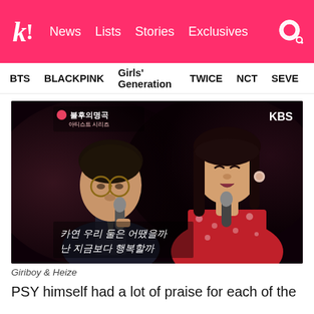k! News  Lists  Stories  Exclusives
BTS  BLACKPINK  Girls' Generation  TWICE  NCT  SEVE
[Figure (photo): Two performers singing on stage with microphones. The left person wears glasses and a suit; the right person wears a red floral dress. Korean subtitles visible at bottom left. KBS logo top right. Show logo top left shows Korean text.]
Giriboy & Heize
PSY himself had a lot of praise for each of the